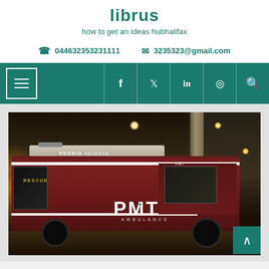librus
how to get an ideas hubhalifax
044632353231111  3235323@gmail.com
Navigation bar with hamburger menu, f, twitter, in, instagram, search icons
[Figure (photo): PMT Ambulance (dark maroon/red) parked at night under a covered area with warm orange lighting. Text on vehicle reads PEORIA HEIGHTS and PMT AMBULANCE.]